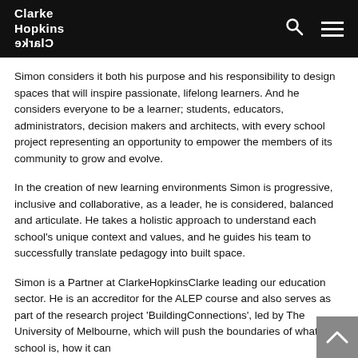Clarke Hopkins Clarke
Simon considers it both his purpose and his responsibility to design spaces that will inspire passionate, lifelong learners. And he considers everyone to be a learner; students, educators, administrators, decision makers and architects, with every school project representing an opportunity to empower the members of its community to grow and evolve.
In the creation of new learning environments Simon is progressive, inclusive and collaborative, as a leader, he is considered, balanced and articulate. He takes a holistic approach to understand each school's unique context and values, and he guides his team to successfully translate pedagogy into built space.
Simon is a Partner at ClarkeHopkinsClarke leading our education sector. He is an accreditor for the ALEP course and also serves as part of the research project 'BuildingConnections', led by The University of Melbourne, which will push the boundaries of what a school is, how it can